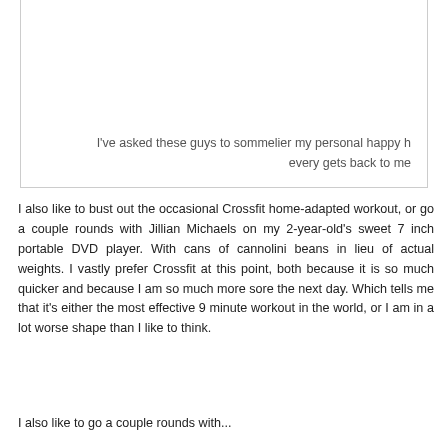I've asked these guys to sommelier my personal happy h every gets back to me
I also like to bust out the occasional Crossfit home-adapted workout, or go a couple rounds with Jillian Michaels on my 2-year-old's sweet 7 inch portable DVD player. With cans of cannolini beans in lieu of actual weights. I vastly prefer Crossfit at this point, both because it is so much quicker and because I am so much more sore the next day. Which tells me that it's either the most effective 9 minute workout in the world, or I am in a lot worse shape than I like to think.
I also like to go a couple rounds with...